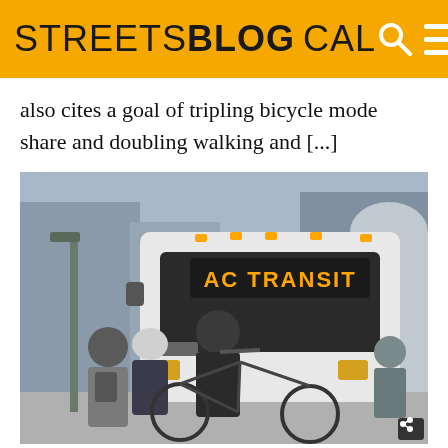STREETSBLOG CAL
also cites a goal of tripling bicycle mode share and doubling walking and [...]
[Figure (photo): People with bicycles standing in front of an AC Transit bus at a transit stop, urban setting with buildings in background.]